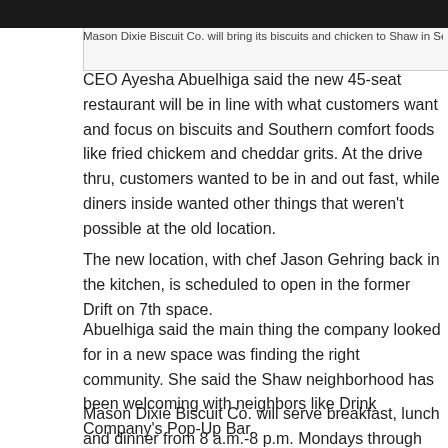[Figure (photo): Dark strip at top of page showing a portion of a person/image — partially visible photo of Mason Dixie Biscuit Co.]
Mason Dixie Biscuit Co. will bring its biscuits and chicken to Shaw in Se
CEO Ayesha Abuelhiga said the new 45-seat restaurant will be in line with what customers want and focus on biscuits and Southern comfort foods like fried chickem and cheddar grits. At the drive thru, customers wanted to be in and out fast, while diners inside wanted other things that weren't possible at the old location.
The new location, with chef Jason Gehring back in the kitchen, is scheduled to open in the former Drift on 7th space.
Abuelhiga said the main thing the company looked for in a new space was finding the right community. She said the Shaw neighborhood has been welcoming with neighbors like Drink Company's Pop-Up Bar.
Mason Dixie Biscuit Co. will serve breakfast, lunch and dinner from 8 a.m.-8 p.m. Mondays through Fridays. Brunch will be served on Saturday and Sunday from 8 a.m.-4 p.m.